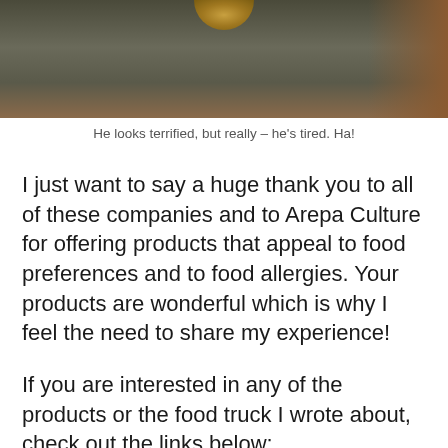[Figure (photo): Partial photo showing a dark table surface with a golden/bronze cup or vessel at top, and a brown/warm toned element at right edge]
He looks terrified, but really – he's tired. Ha!
I just want to say a huge thank you to all of these companies and to Arepa Culture for offering products that appeal to food preferences and to food allergies. Your products are wonderful which is why I feel the need to share my experience!
If you are interested in any of the products or the food truck I wrote about, check out the links below: